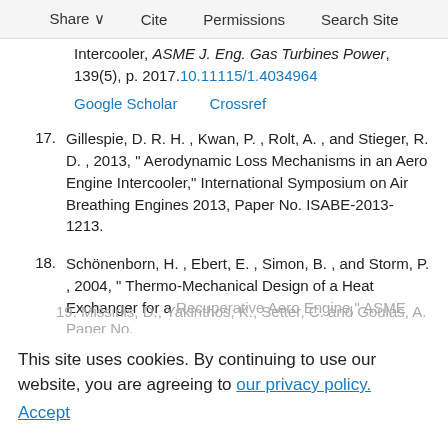Share  Cite  Permissions  Search Site
Intercooler, ASME J. Eng. Gas Turbines Power, 139(5), p. 2017.10.11115/1.4034964
Google Scholar  Crossref
17. Gillespie, D. R. H. , Kwan, P. , Rolt, A. , and Stieger, R. D. , 2013, “ Aerodynamic Loss Mechanisms in an Aero Engine Intercooler,” International Symposium on Air Breathing Engines 2013, Paper No. ISABE-2013-1213.
18. Schönenborn, H. , Ebert, E. , Simon, B. , and Storm, P. , 2004, “ Thermo-Mechanical Design of a Heat Exchanger for a Recuperative Aero Engine,” ASME Paper No.
This site uses cookies. By continuing to use our website, you are agreeing to our privacy policy.
Accept
19. Missirlis, D., Yakinthos, K., Setter, C. and Goulas, A. , 2010, “ Modeling an Installation